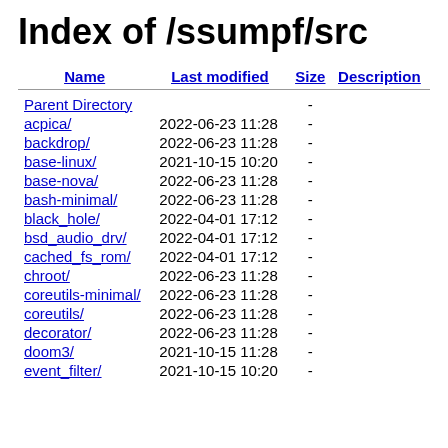Index of /ssumpf/src
| Name | Last modified | Size | Description |
| --- | --- | --- | --- |
| Parent Directory |  | - |  |
| acpica/ | 2022-06-23 11:28 | - |  |
| backdrop/ | 2022-06-23 11:28 | - |  |
| base-linux/ | 2021-10-15 10:20 | - |  |
| base-nova/ | 2022-06-23 11:28 | - |  |
| bash-minimal/ | 2022-06-23 11:28 | - |  |
| black_hole/ | 2022-04-01 17:12 | - |  |
| bsd_audio_drv/ | 2022-04-01 17:12 | - |  |
| cached_fs_rom/ | 2022-04-01 17:12 | - |  |
| chroot/ | 2022-06-23 11:28 | - |  |
| coreutils-minimal/ | 2022-06-23 11:28 | - |  |
| coreutils/ | 2022-06-23 11:28 | - |  |
| decorator/ | 2022-06-23 11:28 | - |  |
| doom3/ | 2021-10-15 11:28 | - |  |
| event_filter/ | 2021-10-15 10:20 | - |  |